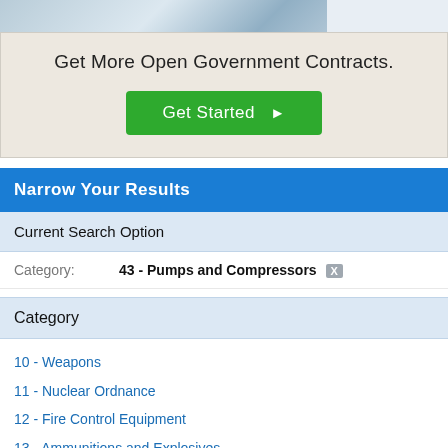[Figure (photo): Top banner image showing a government/official building, partially cropped]
Get More Open Government Contracts.
Get Started ▶
Narrow Your Results
Current Search Option
Category: 43 - Pumps and Compressors X
Category
10 - Weapons
11 - Nuclear Ordnance
12 - Fire Control Equipment
13 - Ammunitions and Explosives
14 - Guided Missiles